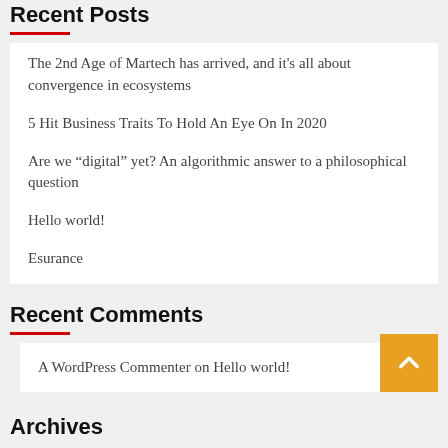Recent Posts
The 2nd Age of Martech has arrived, and it's all about convergence in ecosystems
5 Hit Business Traits To Hold An Eye On In 2020
Are we “digital” yet? An algorithmic answer to a philosophical question
Hello world!
Esurance
Recent Comments
A WordPress Commenter on Hello world!
Archives